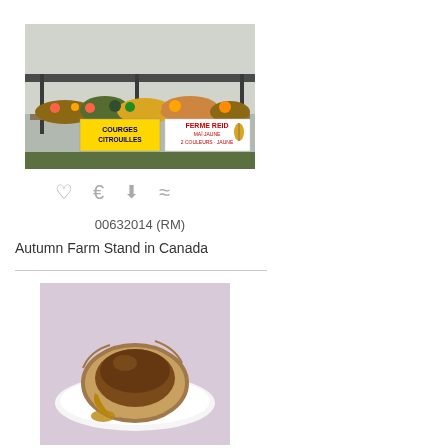[Figure (photo): Autumn farm stand in Canada with vegetables, squash, pumpkins on display under an awning with signage reading COURGES CITROUILLES and FERME REID]
♡  €  ⬇  ≈
00632014 (RM)
Autumn Farm Stand in Canada
[Figure (photo): A butter tart or small pie with filling spilling out on a white plate, on a pink/purple background]